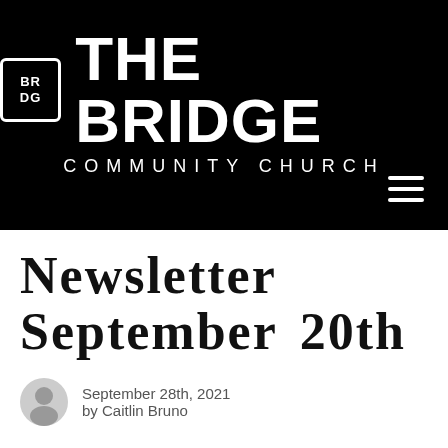[Figure (logo): The Bridge Community Church logo on black background with hamburger menu icon]
Newsletter September 20th
September 28th, 2021
by Caitlin Bruno